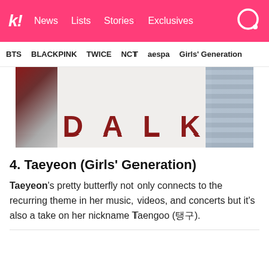koreaboo | News  Lists  Stories  Exclusives
BTS  BLACKPINK  TWICE  NCT  aespa  Girls' Generation
[Figure (photo): Banner image showing the text DALK in large dark red block letters on a white background, with two people partially visible on the left and right sides.]
4. Taeyeon (Girls' Generation)
Taeyeon's pretty butterfly not only connects to the recurring theme in her music, videos, and concerts but it's also a take on her nickname Taengoo (탱구).